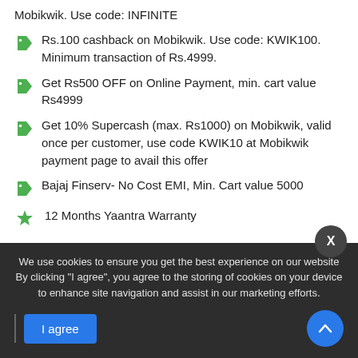Mobikwik. Use code: INFINITE
Rs.100 cashback on Mobikwik. Use code: KWIK100. Minimum transaction of Rs.4999.
Get Rs500 OFF on Online Payment, min. cart value Rs4999
Get 10% Supercash (max. Rs1000) on Mobikwik, valid once per customer, use code KWIK10 at Mobikwik payment page to avail this offer
Bajaj Finserv- No Cost EMI, Min. Cart value 5000
12 Months Yaantra Warranty
Colors :
We use cookies to ensure you get the best experience on our website. By clicking "I agree", you agree to the storing of cookies on your device to enhance site navigation and assist in our marketing efforts.